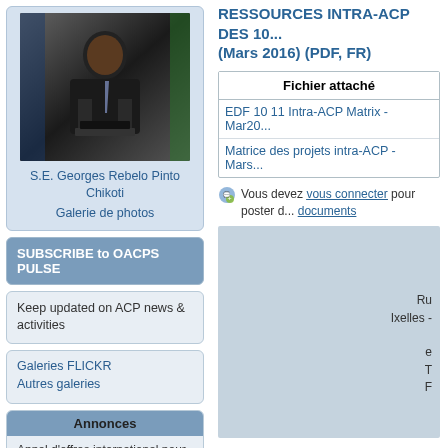[Figure (photo): Photo of S.E. Georges Rebelo Pinto Chikoti, a man in a dark suit speaking at a podium]
S.E. Georges Rebelo Pinto Chikoti
Galerie de photos
SUBSCRIBE to OACPS PULSE
Keep updated on ACP news & activities
Galeries FLICKR
Autres galeries
Annonces
Appel d'offres international pour l'équipement et la mise en place
RESSOURCES INTRA-ACP DES 10... (Mars 2016) (PDF, FR)
| Fichier attaché |
| --- |
| EDF 10 11 Intra-ACP Matrix - Mar20... |
| Matrice des projets intra-ACP - Mars... |
Vous devez vous connecter pour poster d... documents
Ru Ixelles - ... T F